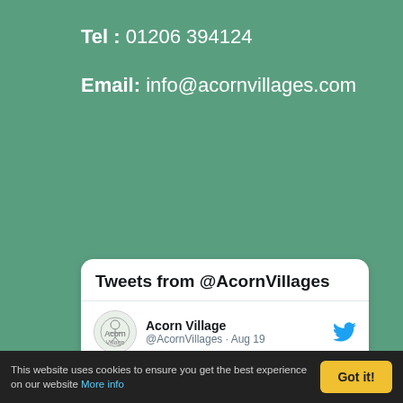Tel : 01206 394124
Email: info@acornvillages.com
Tweets from @AcornVillages
Acorn Village @AcornVillages · Aug 19
Sunshine and Sailing with our friends at The @wstoneproject #LifeisforLiving
[Figure (photo): Two photos side by side: left shows a person wearing a dark cap, right shows sailboat masts at a marina with blue sky]
This website uses cookies to ensure you get the best experience on our website More info Got it!